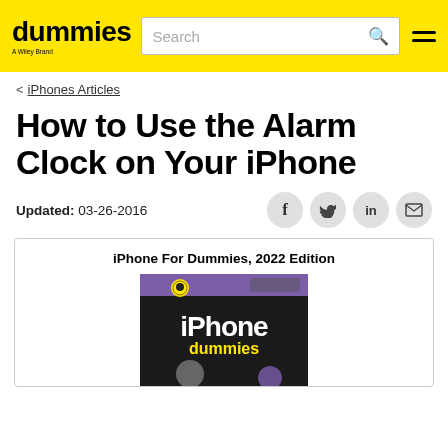dummies — A Wiley Brand
< iPhones Articles
How to Use the Alarm Clock on Your iPhone
Updated: 03-26-2016
[Figure (other): Social share icons: Facebook (f), Twitter (bird), LinkedIn (in), Email (envelope)]
iPhone For Dummies, 2022 Edition
[Figure (photo): Book cover of iPhone For Dummies, 2022 Edition showing an iPhone image with purple and black design]